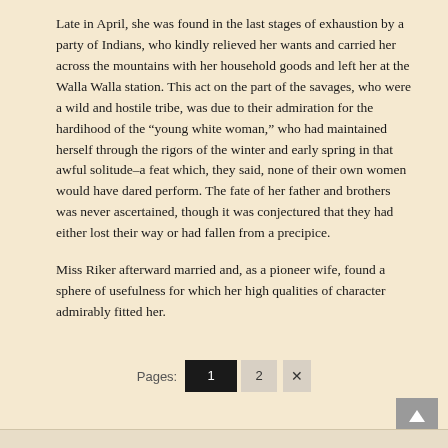Late in April, she was found in the last stages of exhaustion by a party of Indians, who kindly relieved her wants and carried her across the mountains with her household goods and left her at the Walla Walla station. This act on the part of the savages, who were a wild and hostile tribe, was due to their admiration for the hardihood of the “young white woman,” who had maintained herself through the rigors of the winter and early spring in that awful solitude–a feat which, they said, none of their own women would have dared perform. The fate of her father and brothers was never ascertained, though it was conjectured that they had either lost their way or had fallen from a precipice.
Miss Riker afterward married and, as a pioneer wife, found a sphere of usefulness for which her high qualities of character admirably fitted her.
Pages: 1 2